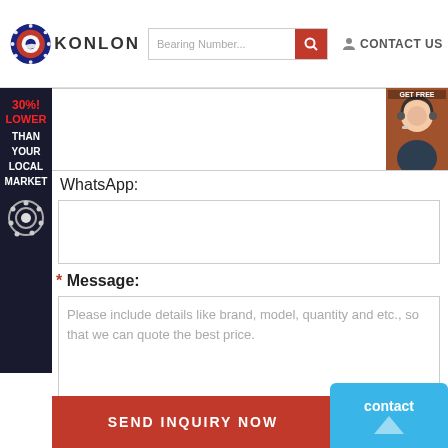[Figure (logo): Konlon bearing company logo — circular bearing graphic with KONLON text]
Bearing Number...
CONTACT US
[Figure (photo): Customer service representative photo on right side]
30% LOWER THAN YOUR LOCAL MARKET
WhatsApp:
* Message:
Please include details like brand, model, quantity and etc., so that we can quote the best price.
SEND INQUIRY NOW
contact